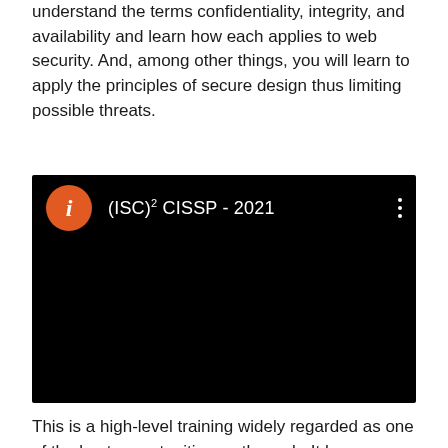understand the terms confidentiality, integrity, and availability and learn how each applies to web security. And, among other things, you will learn to apply the principles of secure design thus limiting possible threats.
[Figure (screenshot): A video thumbnail showing a YouTube-style player with black background. An orange circle avatar with an italic 'i' letter is shown at top left, with the title '(ISC)² CISSP - 2021' in white text beside it. Three vertical dots appear at the top right for a menu.]
This is a high-level training widely regarded as one of the best opportunities on the web. It has received an excellent 4.4 out of 5 star rating from previous students and the host – iCollege – is a reliable resource for online learning. If you want to start a